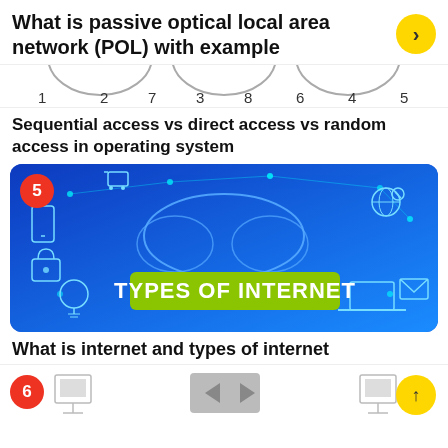What is passive optical local area network (POL) with example
[Figure (illustration): Partial diagram showing numbered nodes/arcs at top of page, partially cropped]
Sequential access vs direct access vs random access in operating system
[Figure (illustration): Thumbnail image with blue digital network background, cloud icon, tech icons, green banner reading TYPES OF INTERNET, numbered badge 5 in red circle]
What is internet and types of internet
[Figure (illustration): Partial network/computer diagram at bottom, numbered badge 6 in red circle, yellow up-arrow button at bottom right]